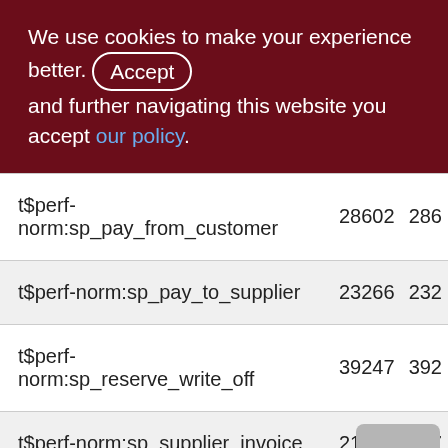We use cookies to make your experience better. By accepting and further navigating this website you accept our policy.
| Name | Col2 | Col3 |
| --- | --- | --- |
| t$perf-norm:sp_pay_from_customer | 28602 | 286 |
| t$perf-norm:sp_pay_to_supplier | 23266 | 232 |
| t$perf-norm:sp_reserve_write_off | 39247 | 392 |
| t$perf-norm:sp_supplier_invoice | 21786 | 217 |
| t$perf-norm:sp_supplier_order | 21554 | 215 |